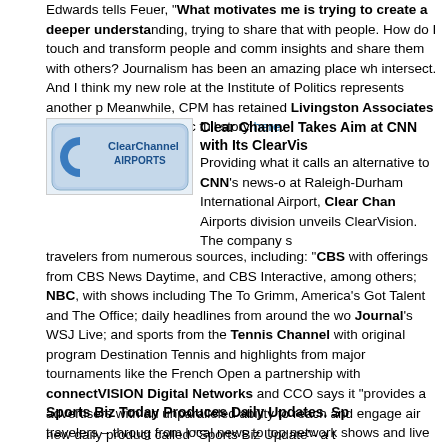Edwards tells Feuer, 'What motivates me is trying to create a deeper understanding, trying to share that with people. How do I touch and transform people and communicate insights and share them with others? Journalism has been an amazing place where they intersect. And I think my new role at the Institute of Politics represents another place.' Meanwhile, CPM has retained Livingston Associates to help find Edwards' successor. Full story here.
[Figure (logo): Clear Channel Airports logo - blue rounded rectangle with stylized C and text]
Clear Channel Takes Aim at CNN with Its ClearVision Network
Providing what it calls an alternative to CNN's news-only format, starting at Raleigh-Durham International Airport, Clear Channel Airports division unveils ClearVision. The company serves travelers from numerous sources, including: 'CBS with offerings from CBS News, CBS Daytime, and CBS Interactive, among others; NBC, with shows including The Today Show, Grimm, America's Got Talent and The Office; daily headlines from around the world via Wall Street Journal's WSJ Live; and sports from the Tennis Channel with original programming like Destination Tennis and highlights from major tournaments like the French Open and US Open; a partnership with connectVISION Digital Networks and CCO says it "provides airports and advertisers with an unparalleled ability to reach and engage air travelers – through content from local news to top network shows and live events. Airports ultimately will be able to provide travelers accustomed to on-demand content access to the ClearVision service via iPads, and laptops." There's no word from Clear Channel on what other American airports it's negotiating but the company sounds very dedicated to this market and you can be expecting more deals announced in the near future.
Sports Biz Today Produces Daily Updates.  Spo...
new daily product called "Sports Biz Update" - a t...